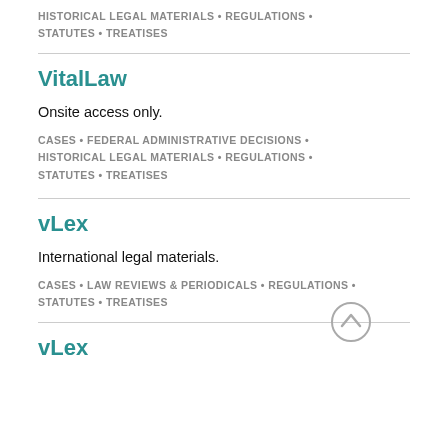HISTORICAL LEGAL MATERIALS • REGULATIONS • STATUTES • TREATISES
VitalLaw
Onsite access only.
CASES • FEDERAL ADMINISTRATIVE DECISIONS • HISTORICAL LEGAL MATERIALS • REGULATIONS • STATUTES • TREATISES
vLex
International legal materials.
CASES • LAW REVIEWS & PERIODICALS • REGULATIONS • STATUTES • TREATISES
vLex